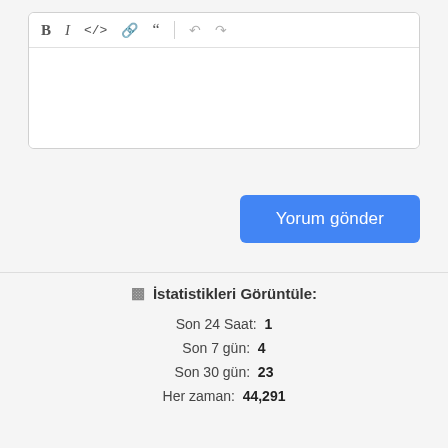[Figure (screenshot): Rich text editor toolbar with Bold (B), Italic (I), Code (</>), Link (chain icon), Quote (quotation marks), Undo, and Redo buttons, followed by an empty text area input field.]
Yorum gönder
İstatistikleri Görüntüle:
Son 24 Saat: 1
Son 7 gün: 4
Son 30 gün: 23
Her zaman: 44,291